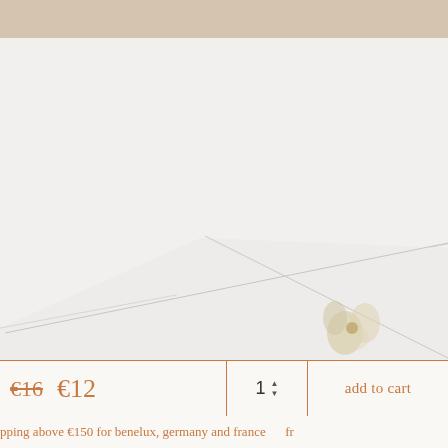[Figure (photo): Close-up photo of white stationery box or card with diagonal fold lines, with a small floral decoration visible at bottom right, against a warm beige/cream background]
€16  €12
1
add to cart
pping above €150 for benelux, germany and france    fr